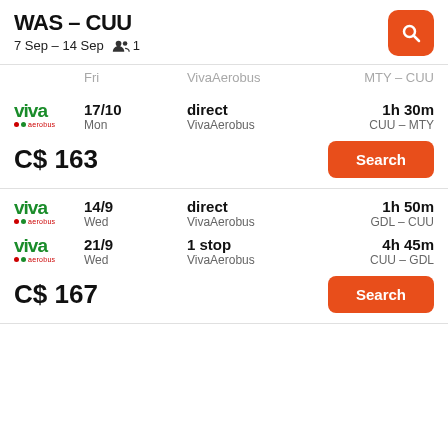WAS – CUU
7 Sep – 14 Sep  1
17/10 Mon | direct VivaAerobus | 1h 30m CUU - MTY | C$ 163
14/9 Wed | direct VivaAerobus | 1h 50m GDL - CUU
21/9 Wed | 1 stop VivaAerobus | 4h 45m CUU - GDL | C$ 167